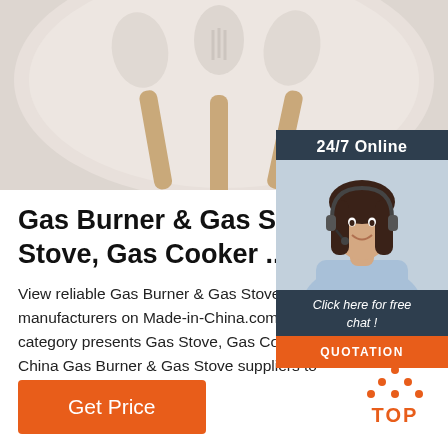[Figure (photo): Kitchen utensils (wooden-handled spatulas/spoons) in a light pink/beige dish or pan, viewed from above]
[Figure (infographic): 24/7 Online chat overlay panel with female customer service agent wearing headset, blue shirt, smiling. Panel includes 'Click here for free chat!' text and orange QUOTATION button]
Gas Burner & Gas Stove - Chi Stove, Gas Cooker ...
View reliable Gas Burner & Gas Stove manufacturers on Made-in-China.com. This category presents Gas Stove, Gas Co... China Gas Burner & Gas Stove suppliers to global buyers., page 11
[Figure (illustration): Orange 'TOP' icon with dotted triangle/arrow pointing up]
Get Price